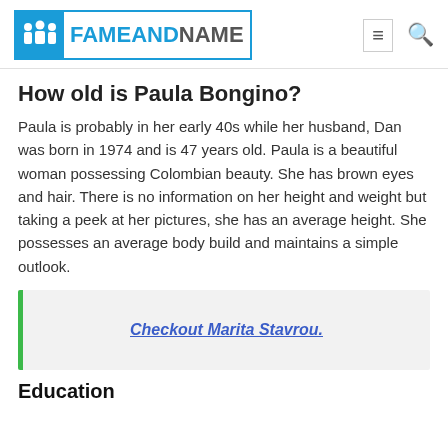FAMEANDNAME
How old is Paula Bongino?
Paula is probably in her early 40s while her husband, Dan was born in 1974 and is 47 years old. Paula is a beautiful woman possessing Colombian beauty. She has brown eyes and hair. There is no information on her height and weight but taking a peek at her pictures, she has an average height. She possesses an average body build and maintains a simple outlook.
Checkout Marita Stavrou.
Education